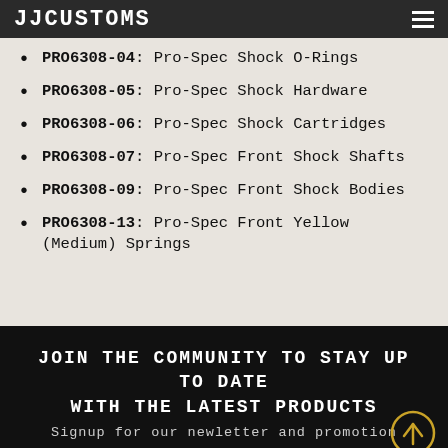JJCUSTOMS
PRO6308-04: Pro-Spec Shock O-Rings
PRO6308-05: Pro-Spec Shock Hardware
PRO6308-06: Pro-Spec Shock Cartridges
PRO6308-07: Pro-Spec Front Shock Shafts
PRO6308-09: Pro-Spec Front Shock Bodies
PRO6308-13: Pro-Spec Front Yellow (Medium) Springs
JOIN THE COMMUNITY TO STAY UP TO DATE WITH THE LATEST PRODUCTS
Signup for our newletter and promotion
Email